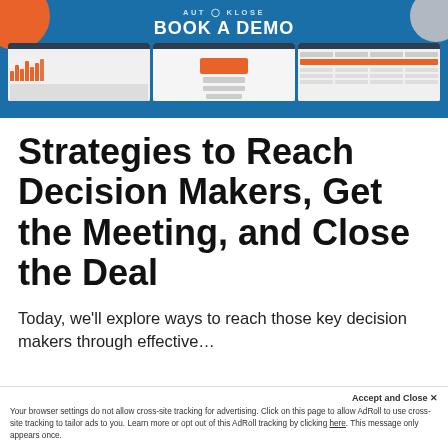[Figure (screenshot): Autoklose 'Book a Demo' advertisement banner with blue background, orange and gray decorative circles, and three app screenshots]
Strategies to Reach Decision Makers, Get the Meeting, and Close the Deal
Today, we'll explore ways to reach those key decision makers through effective…
Accept and Close ×
Your browser settings do not allow cross-site tracking for advertising. Click on this page to allow AdRoll to use cross-site tracking to tailor ads to you. Learn more or opt out of this AdRoll tracking by clicking here. This message only appears once.